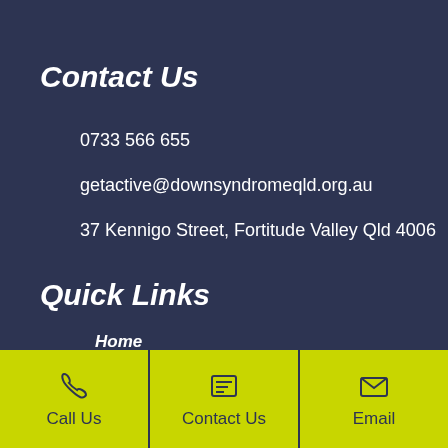Contact Us
0733 566 655
getactive@downsyndromeqld.org.au
37 Kennigo Street, Fortitude Valley Qld 4006
Quick Links
Home
Call Us | Contact Us | Email